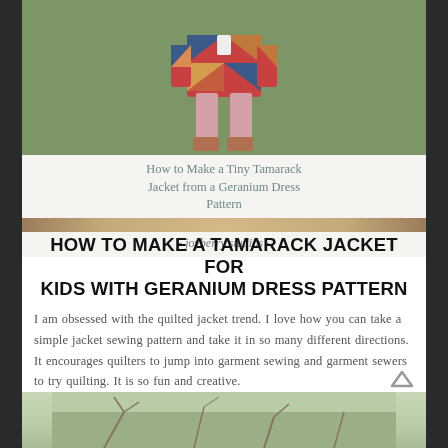[Figure (photo): Blog card showing a child wearing a colorful quilted jacket, with overlay text 'How to Make a Tiny Tamarack Jacket from a Geranium Dress Pattern' and '- joyberry studios -' branding]
HOW TO MAKE A TAMARACK JACKET FOR KIDS WITH GERANIUM DRESS PATTERN
I am obsessed with the quilted jacket trend. I love how you can take a simple jacket sewing pattern and take it in so many different directions. It encourages quilters to jump into garment sewing and garment sewers to try quilting. It is so fun and creative.
[Figure (photo): Partial image at bottom of page showing outdoor scene, cropped]